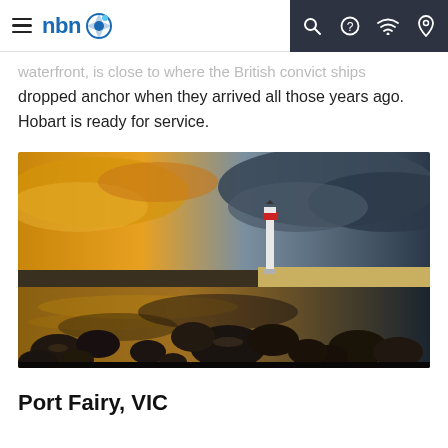nbn — navigation header with hamburger menu, logo, search, help, wifi, and location icons
waterfront, is close to where the British convict ships dropped anchor when they arrived all those years ago. Hobart is ready for service.
[Figure (photo): Coastal landscape at dusk/dawn showing a lighthouse in the background, dramatic sky with golden light on the left and dark stormy clouds on the right, rocky shoreline with tide pools and large boulders in the foreground, water reflecting the golden light.]
Port Fairy, VIC